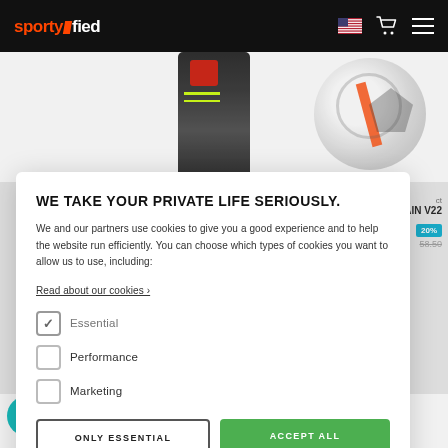sportyfied [navigation bar with logo, flag icon, cart icon, menu icon]
[Figure (screenshot): Background showing sports products: a dark shin guard/bottle on the left and a soccer ball on the right, partially visible behind the cookie consent modal]
WE TAKE YOUR PRIVATE LIFE SERIOUSLY.
We and our partners use cookies to give you a good experience and to help the website run efficiently. You can choose which types of cookies you want to allow us to use, including:
Read about our cookies ›
Essential (checked)
Performance
Marketing
ONLY ESSENTIAL | ACCEPT ALL
Select
FUTSAL SAMBA V22